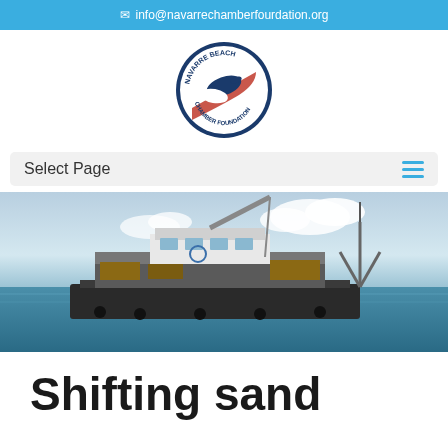info@navarrechambergfoundation.org
[Figure (logo): Navarre Beach Chamber Foundation circular logo with marine animals and red/blue design]
Select Page
[Figure (photo): A large dredging/work barge vessel on calm ocean water with a crane arm extended and a tripod structure nearby, under a partly cloudy sky]
Shifting sand